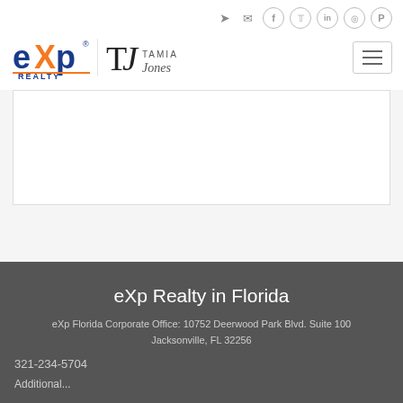[Figure (logo): eXp Realty logo with orange X and blue text, alongside TJ Tamia Jones signature logo]
[Figure (screenshot): White content area with light gray border, appearing as a content placeholder]
eXp Realty in Florida
eXp Florida Corporate Office: 10752 Deerwood Park Blvd. Suite 100 Jacksonville, FL 32256
321-234-5704
Additional...